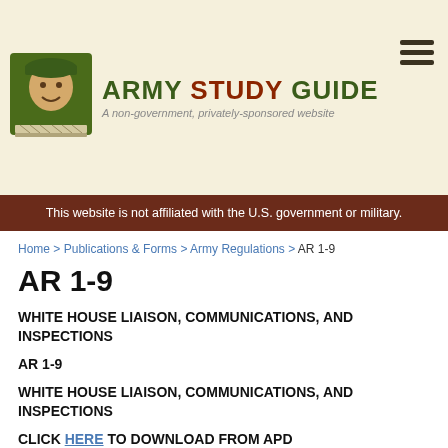[Figure (logo): Army Study Guide logo with soldier in green beret on olive green background with book pages below, beside text ARMY STUDY GUIDE in green and brown stencil font, subtitle: A non-government, privately-sponsored website]
This website is not affiliated with the U.S. government or military.
Home > Publications & Forms > Army Regulations > AR 1-9
AR 1-9
WHITE HOUSE LIAISON, COMMUNICATIONS, AND INSPECTIONS
AR 1-9
WHITE HOUSE LIAISON, COMMUNICATIONS, AND INSPECTIONS
CLICK HERE TO DOWNLOAD FROM APD